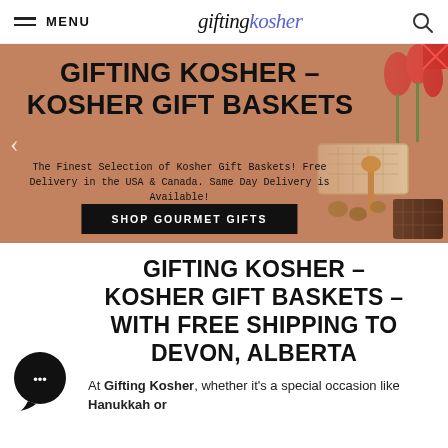MENU | giftingkosher
[Figure (screenshot): Hero banner with warm brown background showing kosher gift items (tulips, matzo, nuts, chocolate) on the right side. Text overlay reads 'GIFTING KOSHER – KOSHER GIFT BASKETS' with subtitle 'The Finest Selection of Kosher Gift Baskets! Free Delivery in the USA & Canada. Same Day Delivery is Available!' and a black button 'SHOP GOURMET GIFTS'. Left arrow navigation visible.]
GIFTING KOSHER – KOSHER GIFT BASKETS – WITH FREE SHIPPING TO DEVON, ALBERTA
At Gifting Kosher, whether it's a special occasion like Hanukkah or